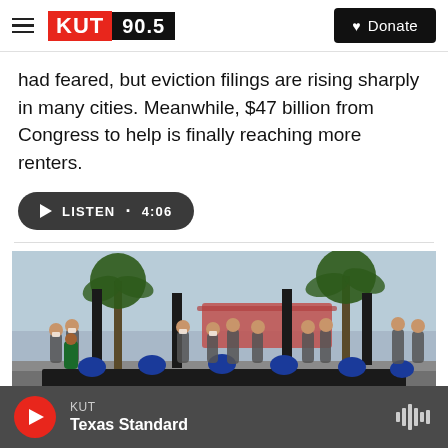KUT 90.5 | Donate
had feared, but eviction filings are rising sharply in many cities. Meanwhile, $47 billion from Congress to help is finally reaching more renters.
LISTEN • 4:06
[Figure (photo): Outdoor event with people wearing masks and blue shirts seated at tables under palm trees, with a large stadium visible in the background.]
KUT | Texas Standard